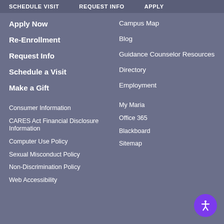SCHEDULE VISIT   REQUEST INFO   APPLY
Apply Now
Re-Enrollment
Request Info
Schedule a Visit
Make a Gift
Campus Map
Blog
Guidance Counselor Resources
Directory
Employment
Consumer Information
CARES Act Financial Disclosure Information
Computer Use Policy
Sexual Misconduct Policy
Non-Discrimination Policy
Web Accessibility
My Maria
Office 365
Blackboard
Sitemap